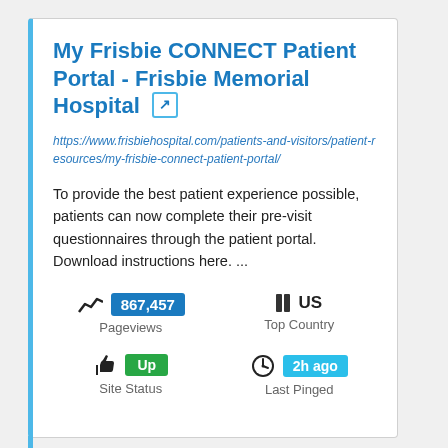My Frisbie CONNECT Patient Portal - Frisbie Memorial Hospital
https://www.frisbiehospital.com/patients-and-visitors/patient-resources/my-frisbie-connect-patient-portal/
To provide the best patient experience possible, patients can now complete their pre-visit questionnaires through the patient portal. Download instructions here. ...
[Figure (infographic): Website statistics panel showing: Pageviews 867,457, Top Country US, Site Status Up, Last Pinged 2h ago]